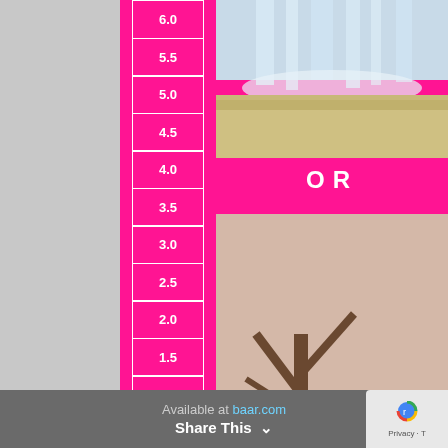[Figure (photo): Book cover of 'Alkalize or Die' by Dr. Theodore A. Baroody. Bright magenta/pink cover with a pH scale strip on the left side (ranging from 0.5 to 6.0, labeled ACID at bottom), two photographs (waterfall at top, dead tree in dry cracked land below), and text 'OR' and 'DIE' between and below the photos.]
Alkalize or Die
Available at baar.com
Share This